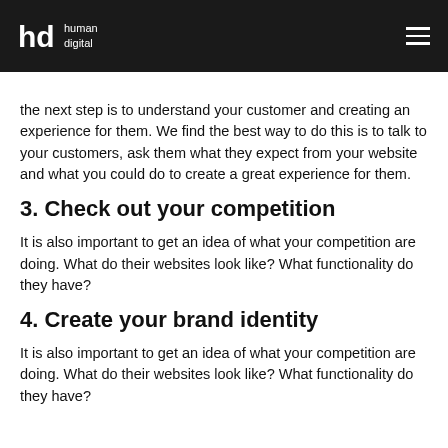hd human digital
the next step is to understand your customer and creating an experience for them. We find the best way to do this is to talk to your customers, ask them what they expect from your website and what you could do to create a great experience for them.
3. Check out your competition
It is also important to get an idea of what your competition are doing. What do their websites look like? What functionality do they have?
4. Create your brand identity
It is also important to get an idea of what your competition are doing. What do their websites look like? What functionality do they have?